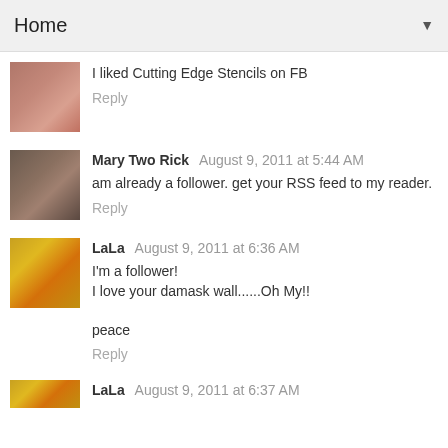Home
I liked Cutting Edge Stencils on FB
Reply
Mary Two Rick  August 9, 2011 at 5:44 AM
am already a follower. get your RSS feed to my reader.
Reply
LaLa  August 9, 2011 at 6:36 AM
I'm a follower!
I love your damask wall......Oh My!!

peace
Reply
LaLa  August 9, 2011 at 6:37 AM